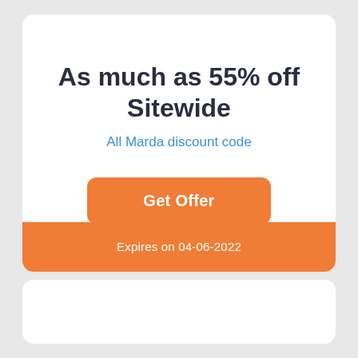As much as 55% off Sitewide
All Marda discount code
Get Offer
Expires on 04-06-2022